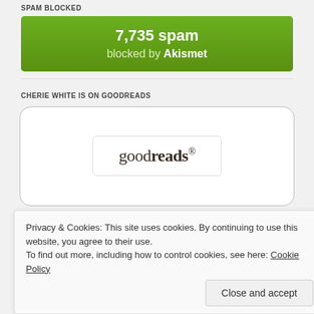SPAM BLOCKED
[Figure (infographic): Green Akismet spam blocked counter widget showing '7,735 spam blocked by Akismet']
CHERIE WHITE IS ON GOODREADS
[Figure (logo): Goodreads logo inside a rounded rectangle widget box]
Privacy & Cookies: This site uses cookies. By continuing to use this website, you agree to their use. To find out more, including how to control cookies, see here: Cookie Policy
Close and accept